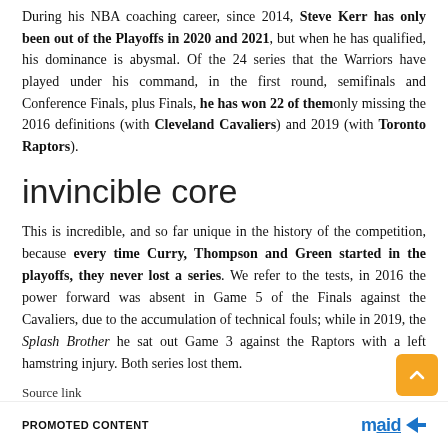During his NBA coaching career, since 2014, Steve Kerr has only been out of the Playoffs in 2020 and 2021, but when he has qualified, his dominance is abysmal. Of the 24 series that the Warriors have played under his command, in the first round, semifinals and Conference Finals, plus Finals, he has won 22 of them only missing the 2016 definitions (with Cleveland Cavaliers) and 2019 (with Toronto Raptors).
invincible core
This is incredible, and so far unique in the history of the competition, because every time Curry, Thompson and Green started in the playoffs, they never lost a series. We refer to the tests, in 2016 the power forward was absent in Game 5 of the Finals against the Cavaliers, due to the accumulation of technical fouls; while in 2019, the Splash Brother he sat out Game 3 against the Raptors with a left hamstring injury. Both series lost them.
Source link
PROMOTED CONTENT